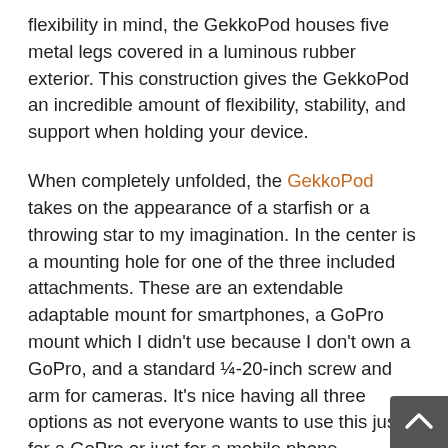flexibility in mind, the GekkoPod houses five metal legs covered in a luminous rubber exterior. This construction gives the GekkoPod an incredible amount of flexibility, stability, and support when holding your device.
When completely unfolded, the GekkoPod takes on the appearance of a starfish or a throwing star to my imagination. In the center is a mounting hole for one of the three included attachments. These are an extendable adaptable mount for smartphones, a GoPro mount which I didn't use because I don't own a GoPro, and a standard ¼-20-inch screw and arm for cameras. It's nice having all three options as not everyone wants to use this just for a GoPro or just for a mobile phone.
Four out of the five legs contain studded feet to increase their grip on different surfaces, whether standing upright or hanging off of a table or tree branch. The fifth-foot trades studs for an opening mount, identical to the one in the center of the stand. This too is used to attach one of the included device peripherals.